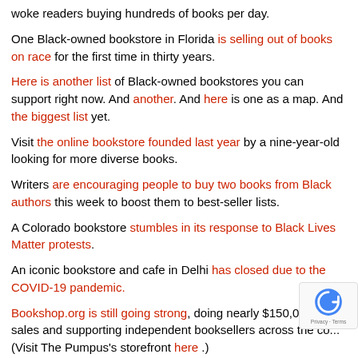woke readers buying hundreds of books per day.
One Black-owned bookstore in Florida is selling out of books on race for the first time in thirty years.
Here is another list of Black-owned bookstores you can support right now. And another. And here is one as a map. And the biggest list yet.
Visit the online bookstore founded last year by a nine-year-old looking for more diverse books.
Writers are encouraging people to buy two books from Black authors this week to boost them to best-seller lists.
A Colorado bookstore stumbles in its response to Black Lives Matter protests.
An iconic bookstore and cafe in Delhi has closed due to the COVID-19 pandemic.
Bookshop.org is still going strong, doing nearly $150,000 a day in sales and supporting independent booksellers across the co... (Visit The Pumpus's storefront here .)